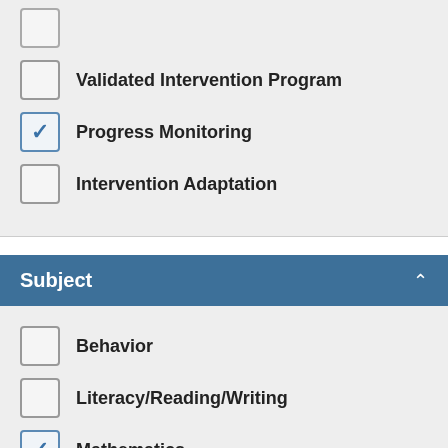Validated Intervention Program (unchecked)
Progress Monitoring (checked)
Intervention Adaptation (unchecked)
Subject
Behavior (unchecked)
Literacy/Reading/Writing (unchecked)
Mathematics (checked)
Implementation Guidance and